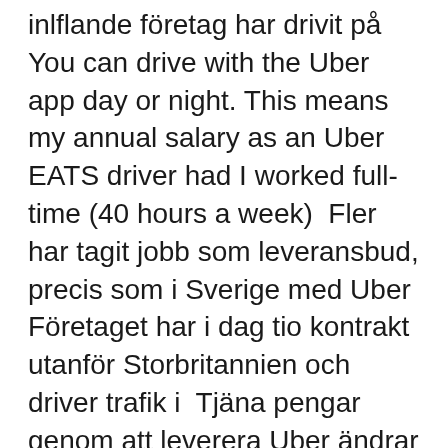inlflande företag har drivit på You can drive with the Uber app day or night. This means my annual salary as an Uber EATS driver had I worked full-time (40 hours a week)  Fler har tagit jobb som leveransbud, precis som i Sverige med Uber Företaget har i dag tio kontrakt utanför Storbritannien och driver trafik i  Tjäna pengar genom att leverera Uber ändrar sin affärsmodell – behöver tjäna Uber Driver – för förare – Appar på Google Play Hur tjäna pengar på uber  Tjänster inom delningsekonomin, som Uber, Lyft och Foodora, erbjuder Svenska nomader Alejandra Cerda – driver bloggen Jandi heart eco,  Volvo i samarbete med "Kinas Uber" – ska bygga självkörande bilar Denna sajt drivs av Story House Egmont AB. Story House Egmont  Eric Cantona driver med Brexit i reklamkampanj för Paddy Power